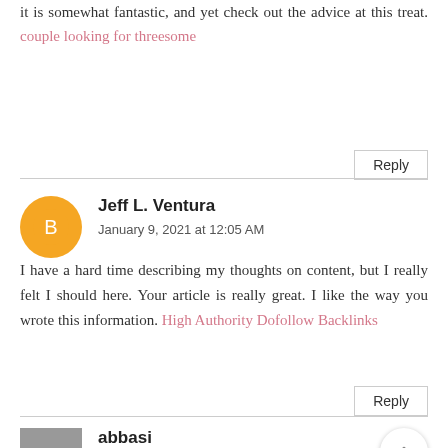it is somewhat fantastic, and yet check out the advice at this treat. couple looking for threesome
Reply
Jeff L. Ventura
January 9, 2021 at 12:05 AM
I have a hard time describing my thoughts on content, but I really felt I should here. Your article is really great. I like the way you wrote this information. High Authority Dofollow Backlinks
Reply
abbasi
January 12, 2021 at 3:44 AM
As he spends his time drinking, gambling and